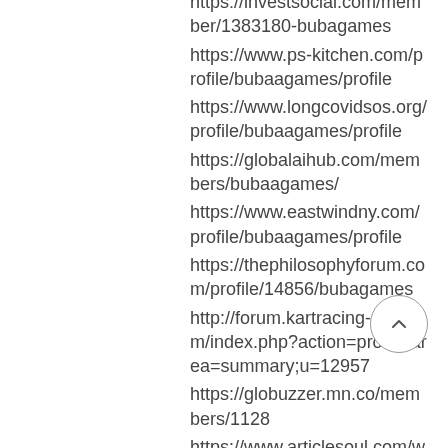https://investsocial.com/member/1383180-bubagames
https://www.ps-kitchen.com/profile/bubaagames/profile
https://www.longcovidsos.org/profile/bubaagames/profile
https://globalaihub.com/members/bubaagames/
https://www.eastwindny.com/profile/bubaagames/profile
https://thephilosophyforum.com/profile/14856/bubagames
http://forum.kartracing-pro.com/index.php?action=profile;area=summary;u=12957
https://globuzzer.mn.co/members/1128
https://www.articlesoul.com/when-playing-in-an-online-casino-what-are-the-most-rewarding-games/
https://www.pianettawinery.com/profile/bubaagames/profile
https://www.ableartswork.org/profile/bubaaga